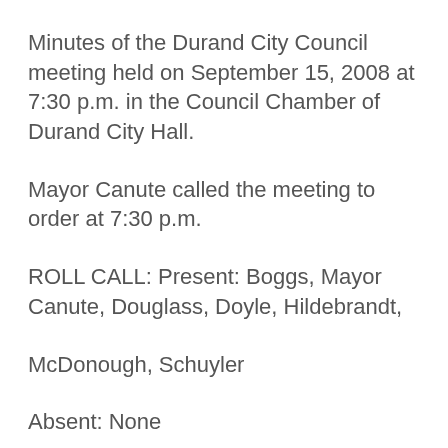Minutes of the Durand City Council meeting held on September 15, 2008 at 7:30 p.m. in the Council Chamber of Durand City Hall.
Mayor Canute called the meeting to order at 7:30 p.m.
ROLL CALL: Present: Boggs, Mayor Canute, Douglass, Doyle, Hildebrandt,
McDonough, Schuyler
Absent: None